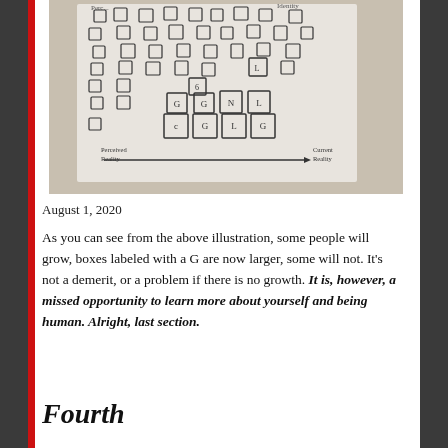[Figure (illustration): Hand-drawn whiteboard diagram showing a grid of squares/boxes representing people, some labeled with 'G' indicating growth (larger boxes). Axes labeled 'Perceived Reality' and 'Current Reality' with an arrow pointing right. Some boxes in the lower right area are larger and labeled with 'G', illustrating the concept of growth.]
August 1, 2020
As you can see from the above illustration, some people will grow, boxes labeled with a G are now larger, some will not. It's not a demerit, or a problem if there is no growth. It is, however, a missed opportunity to learn more about yourself and being human. Alright, last section.
Fourth